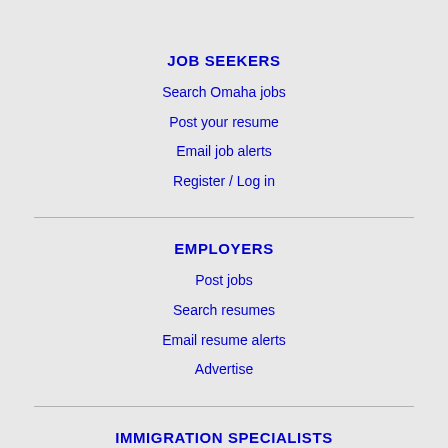JOB SEEKERS
Search Omaha jobs
Post your resume
Email job alerts
Register / Log in
EMPLOYERS
Post jobs
Search resumes
Email resume alerts
Advertise
IMMIGRATION SPECIALISTS